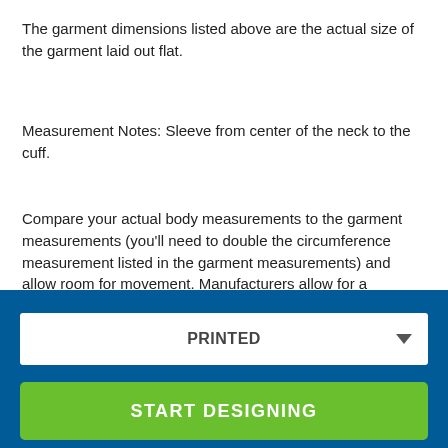The garment dimensions listed above are the actual size of the garment laid out flat.
Measurement Notes: Sleeve from center of the neck to the cuff.
Compare your actual body measurements to the garment measurements (you'll need to double the circumference measurement listed in the garment measurements) and allow room for movement. Manufacturers allow for a tolerance of + or - 1 inch. When in doubt or if you fall in between sizes, we suggest ordering a size up.
If you have a garment and like the way it fits, you can measure it based on these steps then determine what the best size to
PRINTED
START DESIGNING